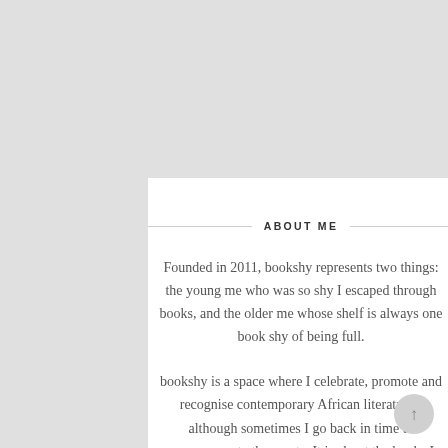ABOUT ME
Founded in 2011, bookshy represents two things: the young me who was so shy I escaped through books, and the older me whose shelf is always one book shy of being full.
bookshy is a space where I celebrate, promote and recognise contemporary African literature - although sometimes I go back in time to commemorate the greats. It is about the books I love, the